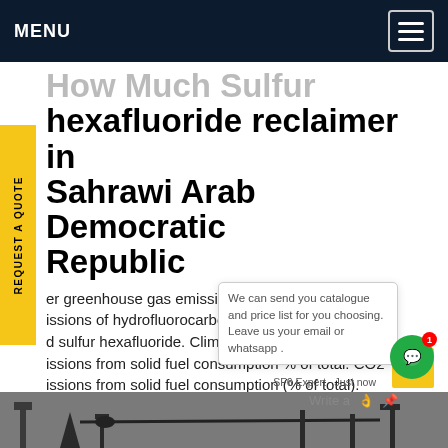MENU
How Much Sulfur hexafluoride reclaimer in Sahrawi Arab Democratic Republic
Other greenhouse gas emissions are by-products emissions of hydrofluorocarbons, perfluorocarbons, and sulfur hexafluoride. Climate change CO2 emissions from solid fuel consumption % of total: CO2 emissions from solid fuel consumption (% of total). Carbon dioxide emissions from solid fuel consumption refer mainly to emissions from use of coalGet price
[Figure (photo): Bottom strip showing industrial/engineering equipment photo]